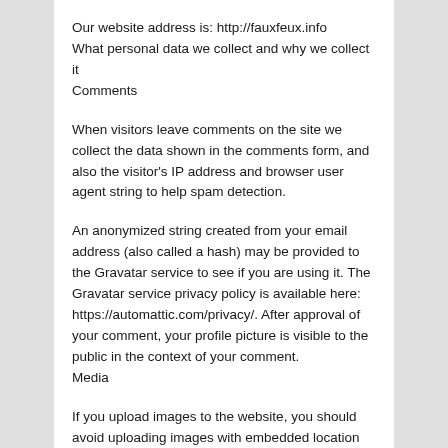Our website address is: http://fauxfeux.info
What personal data we collect and why we collect it
Comments
When visitors leave comments on the site we collect the data shown in the comments form, and also the visitor's IP address and browser user agent string to help spam detection.
An anonymized string created from your email address (also called a hash) may be provided to the Gravatar service to see if you are using it. The Gravatar service privacy policy is available here: https://automattic.com/privacy/. After approval of your comment, your profile picture is visible to the public in the context of your comment.
Media
If you upload images to the website, you should avoid uploading images with embedded location data (EXIF GPS) included. Visitors to the website can download and